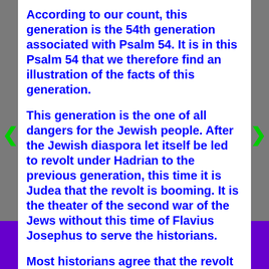According to our count, this generation is the 54th generation associated with Psalm 54. It is in this Psalm 54 that we therefore find an illustration of the facts of this generation.
This generation is the one of all dangers for the Jewish people. After the Jewish diaspora let itself be led to revolt under Hadrian to the previous generation, this time it is Judea that the revolt is booming. It is the theater of the second war of the Jews without this time of Flavius Josephus to serve the historians.
Most historians agree that the revolt